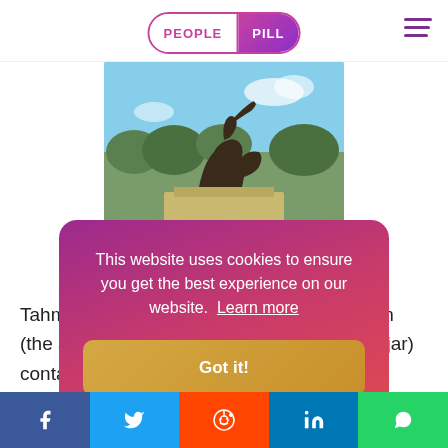PEOPLE PILL
[Figure (photo): Statue of Nader Shah at the Naderi Museum - bronze equestrian statue on a pedestal against a blue sky]
Statue of Nader Shah at the Naderi Museum
Tahmasp and the Qajar leader Fath Ali Khan (the ancestor of Agha Mohammad Khan Qajar) contacted Nader and asked him to join their cause and drive the Ghilzai Afgha... s became a fig... r discovered th... corresponden... is to the shah, Tah... e
This website uses cookies to ensure you get the best experience on our website. Learn more
Got it!
Facebook Twitter Reddit LinkedIn WhatsApp